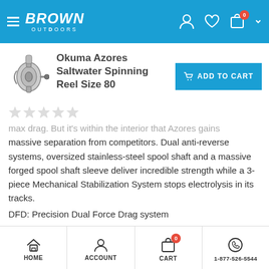BROWN OUTDOORS
Okuma Azores Saltwater Spinning Reel Size 80
max drag. But it's within the interior that Azores gains massive separation from competitors. Dual anti-reverse systems, oversized stainless-steel spool shaft and a massive forged spool shaft sleeve deliver incredible strength while a 3-piece Mechanical Stabilization System stops electrolysis in its tracks.
DFD: Precision Dual Force Drag system
HOME  ACCOUNT  CART  1-877-526-5544